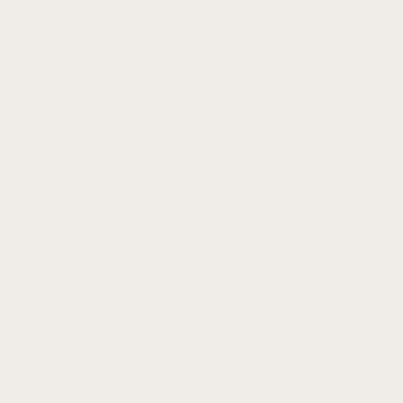| Topic | Author |
| --- | --- |
| Re: Ivy League Admissions. | Bostonia |
| Re: Ivy League Admissions. | JonLaw |
| Re: Ivy League Admissions. | HowlerK |
| Re: Ivy League Admissions. | JonLaw |
| Re: Ivy League Admissions. | HowlerK |
| Re: Ivy League Admissions. | aquinas |
| Re: Ivy League Admissions. | Bostonia |
| Re: Ivy League Admissions. | Val |
| Re: Ivy League Admissions. | notnafna |
| Re: Ivy League Admissions. | Bostonia |